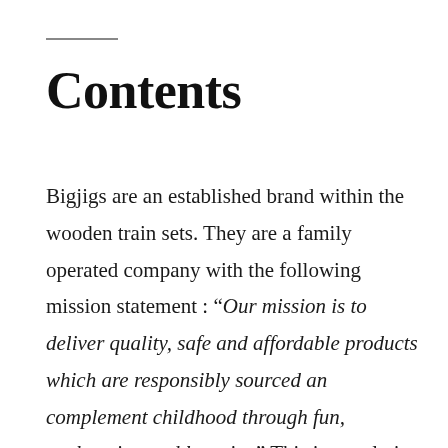Contents
Bigjigs are an established brand within the wooden train sets. They are a family operated company with the following mission statement : “Our mission is to deliver quality, safe and affordable products which are responsibly sourced an complement childhood through fun, exploration and learning” This is a real nice mission